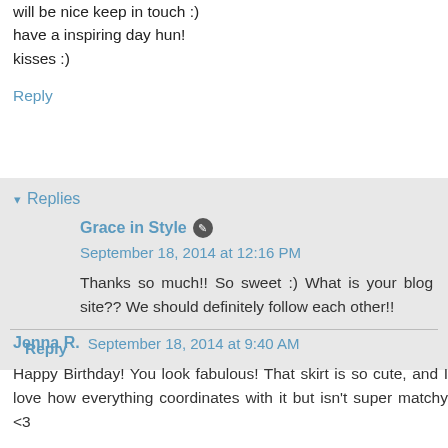will be nice keep in touch :)
have a inspiring day hun!
kisses :)
Reply
Replies
Grace in Style  September 18, 2014 at 12:16 PM
Thanks so much!! So sweet :) What is your blog site?? We should definitely follow each other!!
Reply
Jenna R.  September 18, 2014 at 9:40 AM
Happy Birthday! You look fabulous! That skirt is so cute, and I love how everything coordinates with it but isn't super matchy <3
xoxo jenna @ sincerely jenna marie